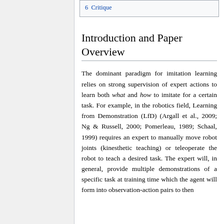6  Critique
Introduction and Paper Overview
The dominant paradigm for imitation learning relies on strong supervision of expert actions to learn both what and how to imitate for a certain task. For example, in the robotics field, Learning from Demonstration (LfD) (Argall et al., 2009; Ng & Russell, 2000; Pomerleau, 1989; Schaal, 1999) requires an expert to manually move robot joints (kinesthetic teaching) or teleoperate the robot to teach a desired task. The expert will, in general, provide multiple demonstrations of a specific task at training time which the agent will form into observation-action pairs to then